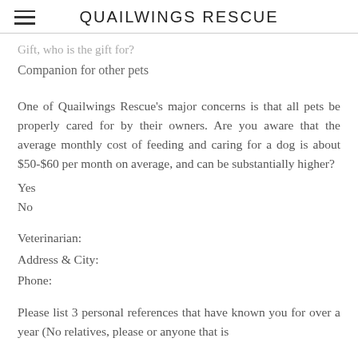QUAILWINGS RESCUE
Gift, who is the gift for?
Companion for other pets
One of Quailwings Rescue's major concerns is that all pets be properly cared for by their owners. Are you aware that the average monthly cost of feeding and caring for a dog is about $50-$60 per month on average, and can be substantially higher?
Yes
No
Veterinarian:
Address & City:
Phone:
Please list 3 personal references that have known you for over a year (No relatives, please or anyone that is